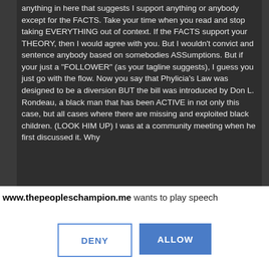[Figure (screenshot): Screenshot of a social media comment on a dark background. Text reads: '...anything in here that suggests I support anything or anybody except for the FACTS. Take your time when you read and stop taking EVERYTHING out of context. If the FACTS support your THEORY, then I would agree with you. But I wouldn't convict and sentence anybody based on somebodies ASSumptions. But if your just a "FOLLOWER" (as your tagline suggests), I guess you just go with the flow. Now you say that Phylicia's Law was designed to be a diversion BUT the bill was introduced by Don L. Rondeau, a black man that has been ACTIVE in not only this case, but all cases where there are missing and exploited black children. (LOOK HIM UP) I was at a community meeting when he first discussed it. Why...']
www.thepeopleschampion.me wants to play speech
DENY
ALLOW